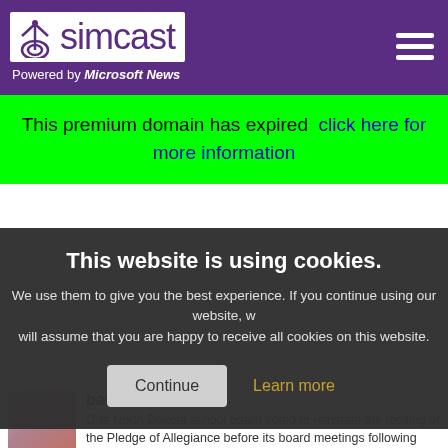[Figure (logo): Simcast logo with antenna icon on white background, purple header with hamburger menu]
Powered by Microsoft News
This premium domain has expired  click here for more information
This website is using cookies. We use them to give you the best experience. If you continue using our website, we will assume that you are happy to receive all cookies on this website.
Continue
Learn more
backlash
One North Dakota school board voted to reinstate the reciting of the Pledge of Allegiance before its board meetings following intense backlash.